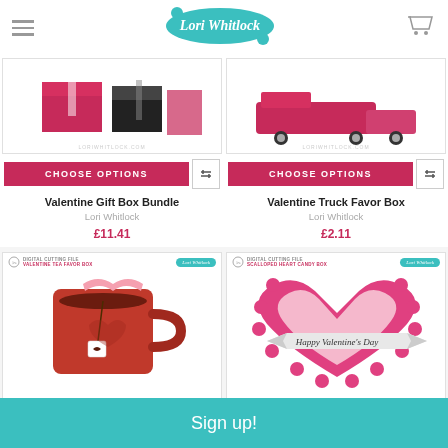Lori Whitlock
[Figure (screenshot): Valentine Gift Box Bundle product image with packaging]
CHOOSE OPTIONS
Valentine Gift Box Bundle
Lori Whitlock
£11.41
[Figure (screenshot): Valentine Truck Favor Box product image]
CHOOSE OPTIONS
Valentine Truck Favor Box
Lori Whitlock
£2.11
[Figure (illustration): Valentine Tea Favor Box - red mug with tea bag and heart]
[Figure (illustration): Scalloped Heart Candy Box - pink scalloped heart with Happy Valentine's Day banner]
Sign up!